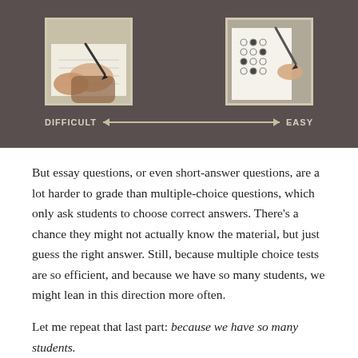[Figure (infographic): Dark brown banner with two photos: left photo shows hands writing with a pen (essay/difficult), right photo shows a hand filling in a multiple-choice answer sheet (easy). A double-headed arrow spans between them labeled DIFFICULT on the left and EASY on the right.]
But essay questions, or even short-answer questions, are a lot harder to grade than multiple-choice questions, which only ask students to choose correct answers. There's a chance they might not actually know the material, but just guess the right answer. Still, because multiple choice tests are so efficient, and because we have so many students, we might lean in this direction more often.
Let me repeat that last part: because we have so many students.
Because that's really the root of it, and I want to be very clear about this: Most of the time when we hit that easy button it's